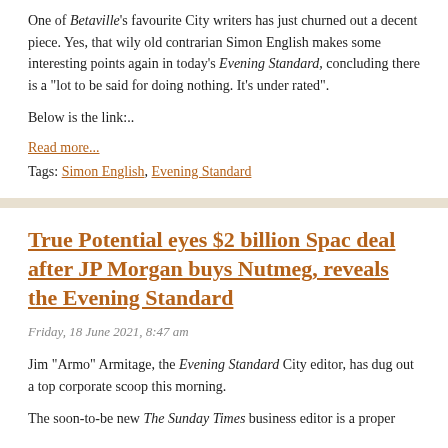One of Betaville's favourite City writers has just churned out a decent piece. Yes, that wily old contrarian Simon English makes some interesting points again in today's Evening Standard, concluding there is a "lot to be said for doing nothing. It's under rated".
Below is the link:..
Read more...
Tags: Simon English, Evening Standard
True Potential eyes $2 billion Spac deal after JP Morgan buys Nutmeg, reveals the Evening Standard
Friday, 18 June 2021, 8:47 am
Jim "Armo" Armitage, the Evening Standard City editor, has dug out a top corporate scoop this morning.
The soon-to-be new The Sunday Times business editor is a proper